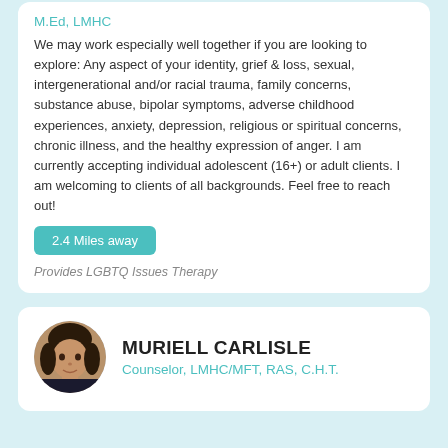M.Ed, LMHC
We may work especially well together if you are looking to explore: Any aspect of your identity, grief & loss, sexual, intergenerational and/or racial trauma, family concerns, substance abuse, bipolar symptoms, adverse childhood experiences, anxiety, depression, religious or spiritual concerns, chronic illness, and the healthy expression of anger. I am currently accepting individual adolescent (16+) or adult clients. I am welcoming to clients of all backgrounds. Feel free to reach out!
2.4 Miles away
Provides LGBTQ Issues Therapy
[Figure (photo): Circular portrait photo of Muriell Carlisle, a woman with dark hair]
MURIELL CARLISLE
Counselor, LMHC/MFT, RAS, C.H.T.